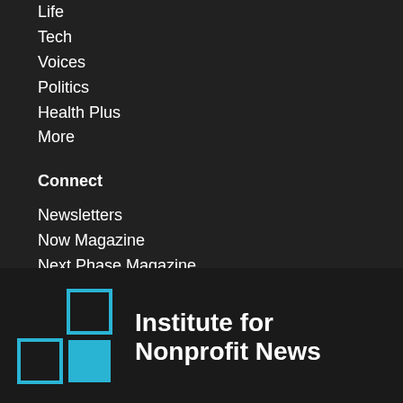Life
Tech
Voices
Politics
Health Plus
More
Connect
Newsletters
Now Magazine
Next Phase Magazine
Media Kit
[Figure (logo): Institute for Nonprofit News logo: blue Tetris-like block squares on the left, and bold white text 'Institute for Nonprofit News' on the right]